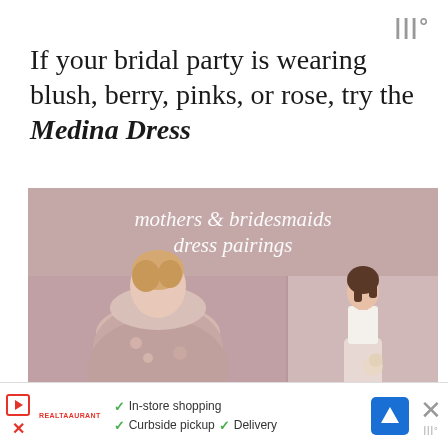|||°
If your bridal party is wearing blush, berry, pinks, or rose, try the Medina Dress
[Figure (photo): Promotional image showing mothers & bridesmaids dress pairings. A blonde woman in a floral dress on the left and a brunette woman in a blush gown on the right, against a dusty rose background with italic script overlay text reading 'mothers & bridesmaids dress pairings'.]
In-store shopping  Curbside pickup  Delivery